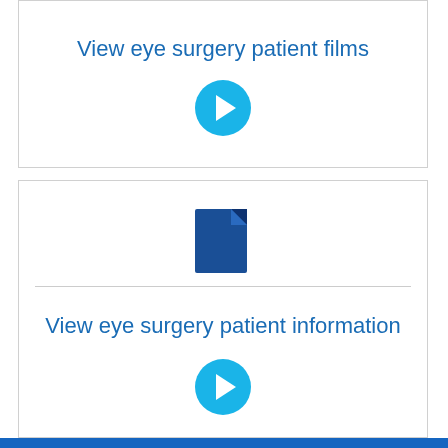View eye surgery patient films
[Figure (illustration): Cyan circular arrow/chevron button pointing right]
[Figure (illustration): Dark blue document/file icon with folded corner]
View eye surgery patient information
[Figure (illustration): Cyan circular arrow/chevron button pointing right]